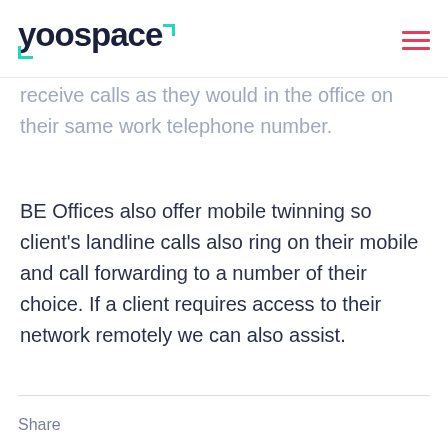yoospace
receive calls as they would in the office on their same work telephone number.
BE Offices also offer mobile twinning so client’s landline calls also ring on their mobile and call forwarding to a number of their choice. If a client requires access to their network remotely we can also assist.
Share